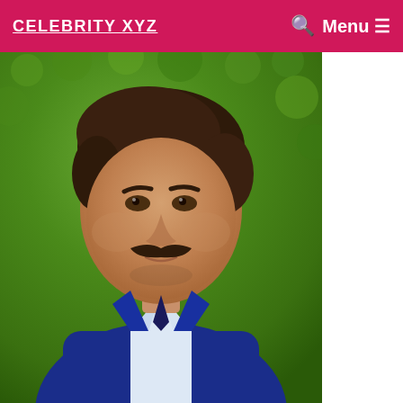CELEBRITY XYZ
[Figure (photo): A man with brown hair and a mustache wearing a blue suit jacket and white shirt, photographed against a green leafy hedge background.]